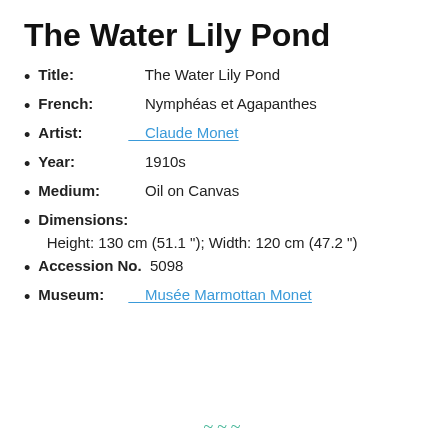The Water Lily Pond
Title: The Water Lily Pond
French: Nymphéas et Agapanthes
Artist: Claude Monet
Year: 1910s
Medium: Oil on Canvas
Dimensions: Height: 130 cm (51.1 "); Width: 120 cm (47.2 ")
Accession No. 5098
Museum: Musée Marmottan Monet